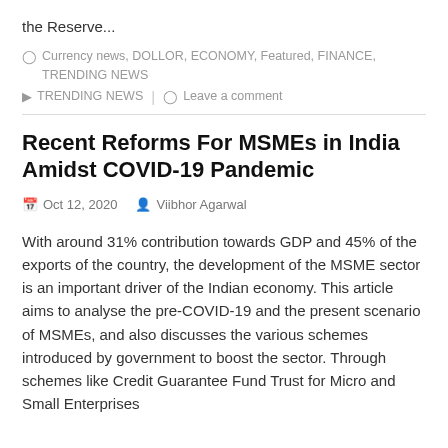the Reserve...
Currency news, DOLLOR, ECONOMY, Featured, FINANCE, TRENDING NEWS
TRENDING NEWS | Leave a comment
Recent Reforms For MSMEs in India Amidst COVID-19 Pandemic
Oct 12, 2020   Viibhor Agarwal
With around 31% contribution towards GDP and 45% of the exports of the country, the development of the MSME sector is an important driver of the Indian economy. This article aims to analyse the pre-COVID-19 and the present scenario of MSMEs, and also discusses the various schemes introduced by government to boost the sector. Through schemes like Credit Guarantee Fund Trust for Micro and Small Enterprises